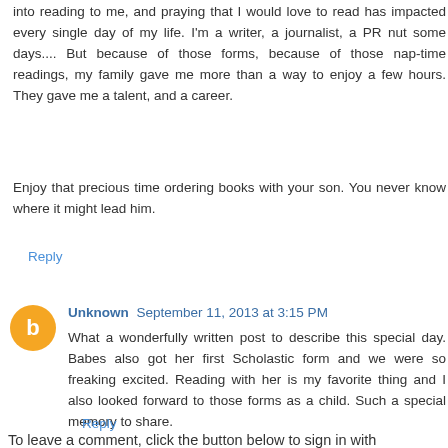into reading to me, and praying that I would love to read has impacted every single day of my life. I'm a writer, a journalist, a PR nut some days.... But because of those forms, because of those nap-time readings, my family gave me more than a way to enjoy a few hours. They gave me a talent, and a career.
Enjoy that precious time ordering books with your son. You never know where it might lead him.
Reply
Unknown September 11, 2013 at 3:15 PM
What a wonderfully written post to describe this special day. Babes also got her first Scholastic form and we were so freaking excited. Reading with her is my favorite thing and I also looked forward to those forms as a child. Such a special memory to share.
Reply
To leave a comment, click the button below to sign in with